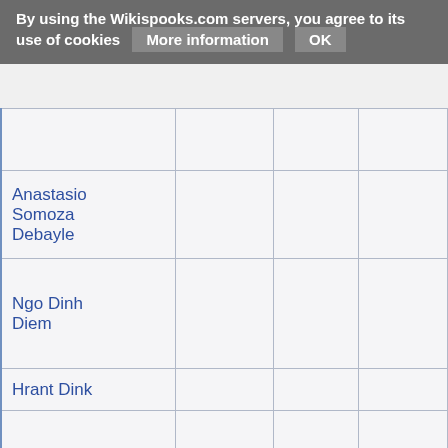By using the Wikispooks.com servers, you agree to its use of cookies   More information   OK
|  |  |  |  |
| Anastasio Somoza Debayle |  |  |  |
| Ngo Dinh Diem |  |  |  |
| Hrant Dink |  |  |  |
|  |  |  |  |